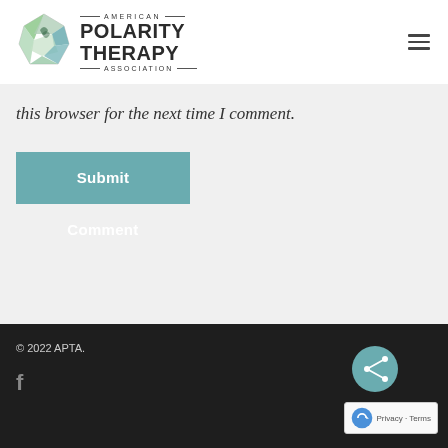American Polarity Therapy Association logo and navigation
this browser for the next time I comment.
Submit Comment
© 2022 APTA.